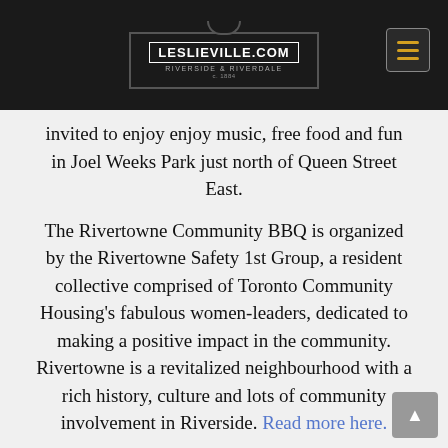LESLIEVILLE.COM — RIVERSIDE & RIVERDALE
invited to enjoy enjoy music, free food and fun in Joel Weeks Park just north of Queen Street East.
The Rivertowne Community BBQ is organized by the Rivertowne Safety 1st Group, a resident collective comprised of Toronto Community Housing's fabulous women-leaders, dedicated to making a positive impact in the community. Rivertowne is a revitalized neighbourhood with a rich history, culture and lots of community involvement in Riverside. Read more here.